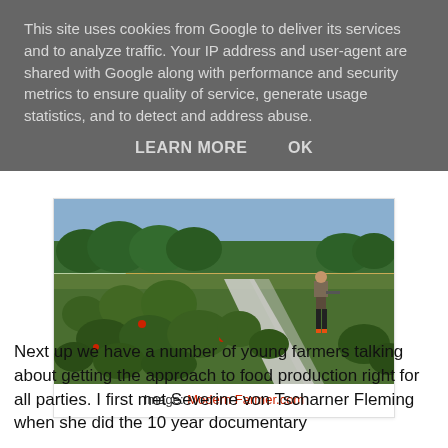This site uses cookies from Google to deliver its services and to analyze traffic. Your IP address and user-agent are shared with Google along with performance and security metrics to ensure quality of service, generate usage statistics, and to detect and address abuse.
LEARN MORE    OK
[Figure (photo): A person standing in a lush vegetable farm or market garden with rows of green plants in the foreground, trees and a field in the background.]
Image: Modern Farmer.com
Next up we have a number of young farmers talking about getting the approach to food production right for all parties. I first met Severine von Tscharner Fleming when she did the 10 year documentary